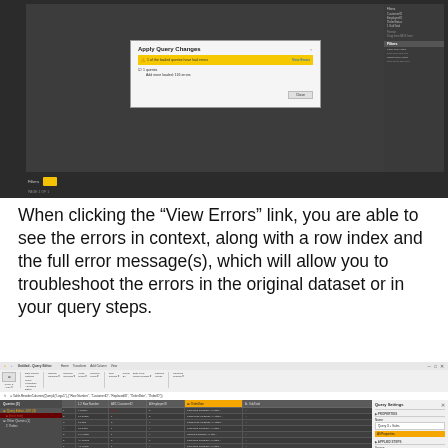[Figure (screenshot): Power BI Desktop screenshot showing 'Apply Query Changes' dialog with a warning about pending queries and a 'View Errors' option, with dark sidebar panels showing Filters and field list]
When clicking the “View Errors” link, you are able to see the errors in context, along with a row index and the full error message(s), which will allow you to troubleshoot the errors in the original dataset or in your query steps.
[Figure (screenshot): Power Query Editor screenshot showing query results with error rows highlighted, left Queries panel, data grid with Row Number, CustomerID, EmployeeID, OrderDate, and SubTotal columns, and right Query Settings panel with Applied Steps including a highlighted 'Combined Queries' step]